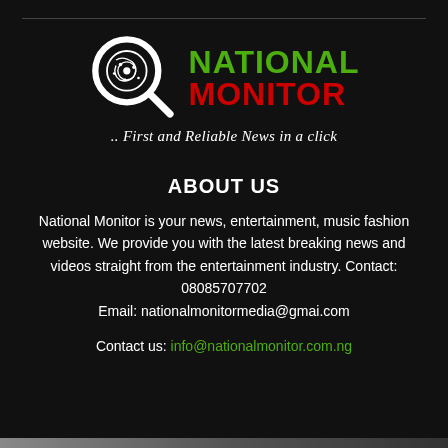[Figure (logo): National Monitor logo with magnifying glass icon, 'NATIONAL' in green bold text and 'MONITOR' in red bold text]
.. First and Reliable News in a click
ABOUT US
National Monitor is your news, entertainment, music fashion website. We provide you with the latest breaking news and videos straight from the entertainment industry. Contact: 08085707702 Email: nationalmonitormedia@gmai.com
Contact us: info@nationalmonitor.com.ng